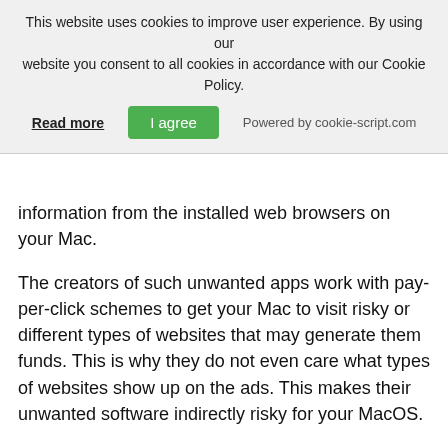This website uses cookies to improve user experience. By using our website you consent to all cookies in accordance with our Cookie Policy.
Read more | I agree | Powered by cookie-script.com
information from the installed web browsers on your Mac.
The creators of such unwanted apps work with pay-per-click schemes to get your Mac to visit risky or different types of websites that may generate them funds. This is why they do not even care what types of websites show up on the ads. This makes their unwanted software indirectly risky for your MacOS.
Can my Mac get a virus?
Yes. As much as any other device, Apple computers do get viruses. Apple devices may not be a frequent target by malware authors, but rest